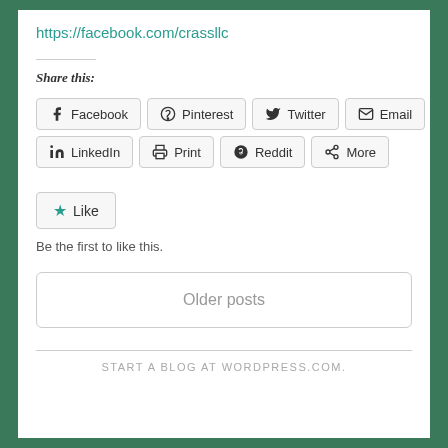https://facebook.com/crassllc
Share this:
[Figure (other): Social sharing buttons: Facebook, Pinterest, Twitter, Email, LinkedIn, Print, Reddit, More]
[Figure (other): Like button with star icon]
Be the first to like this.
Older posts
START A BLOG AT WORDPRESS.COM.